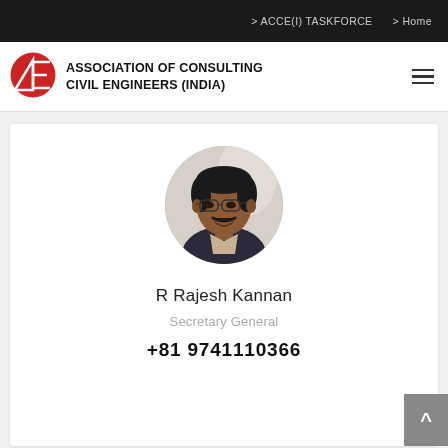> ACCE(I) TASKFORCE   > Home
ASSOCIATION OF CONSULTING CIVIL ENGINEERS (INDIA)
[Figure (logo): ACCE(I) logo — red circular emblem with white geometric lines and letters]
[Figure (photo): Circular portrait photo of R Rajesh Kannan, a middle-aged man with glasses and a mustache, wearing a dark blazer, smiling]
R Rajesh Kannan
Secretary General
+81 9741110366